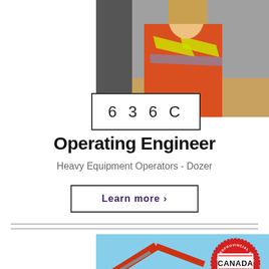[Figure (photo): Person wearing orange safety vest and hi-vis yellow safety straps, construction/industrial worker setting]
6 3 6 C
Operating Engineer
Heavy Equipment Operators - Dozer
Learn more >
[Figure (photo): Red heavy equipment (excavator/dozer arm) against blue sky, with Canada Interprovincial Standard seal overlay]